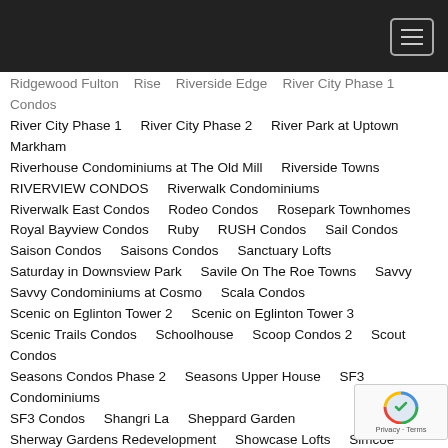Navigation menu header bar
Ridgewood Fulton   Rise   Riverside Edge   River City Phase 1 Condos
River City Phase 1   River City Phase 2   River Park at Uptown Markham
Riverhouse Condominiums at The Old Mill   Riverside Towns
RIVERVIEW CONDOS   Riverwalk Condominiums
Riverwalk East Condos   Rodeo Condos   Rosepark Townhomes
Royal Bayview Condos   Ruby   RUSH Condos   Sail Condos
Saison Condos   Saisons Condos   Sanctuary Lofts
Saturday in Downsview Park   Savile On The Roe Towns   Savvy
Savvy Condominiums at Cosmo   Scala Condos
Scenic on Eglinton Tower 2   Scenic on Eglinton Tower 3
Scenic Trails Condos   Schoolhouse   Scoop Condos 2   Scout Condos
Seasons Condos Phase 2   Seasons Upper House   SF3 Condominiums
SF3 Condos   Shangri La   Sheppard Garden
Sherway Gardens Redevelopment   Showcase Lofts   Simcoe Garden
Sincerely Acorn   Six 50 King West   Six 99 Condos
Sixty Colborne Condos   Sixty-Five Broadway Condos   SkyCity
SkyTower Pinnacle One Yonge   Smart House   Social Condos
Society145 Condos   Sonic Condos   Sonoma Urban Towns
South Beach   South Forest Hill Residences   South Hill on Madison
South Tower at the Upper Village   Southport In Swansea
Southside Towns   Spectra   Spice Condominium
Spirito Condominiums   Springwater   Spur Line Common Condos